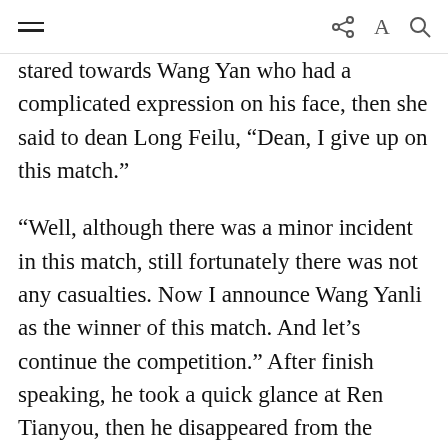[hamburger menu] [share icon] A [search icon]
stared towards Wang Yan who had a complicated expression on his face, then she said to dean Long Feilu, “Dean, I give up on this match.”
“Well, although there was a minor incident in this match, still fortunately there was not any casualties. Now I announce Wang Yanli as the winner of this match. And let’s continue the competition.” After finish speaking, he took a quick glance at Ren Tianyou, then he disappeared from the arena.
After this Ren Tianyou removed his illusion